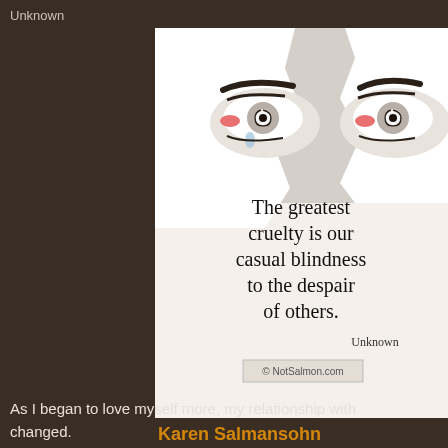Unknown
[Figure (illustration): Quote card with illustrated crying eyes peeking through torn paper effect. Text reads: The greatest cruelty is our casual blindness to the despair of others. Unknown. © NotSalmon.com]
Karen Salmansohn
As I began to love myself more, my relationship with changed.